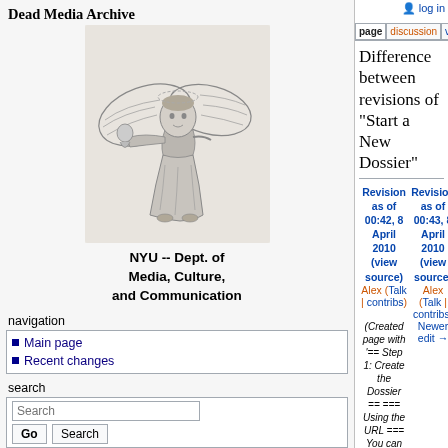Dead Media Archive
[Figure (illustration): Black and white illustration of an angel figure in classical robes holding a small child or figure, typical of a wiki logo for Dead Media Archive, NYU Dept. of Media, Culture, and Communication]
NYU -- Dept. of Media, Culture, and Communication
navigation
Main page
Recent changes
search
tools
log in
Difference between revisions of "Start a New Dossier"
| Revision as of 00:42, 8 April 2010 (view source) | Revision as of 00:43, 8 April 2010 (view source) |
| --- | --- |
| Alex (Talk | contribs) | Alex (Talk | contribs) |
| (Created page with '== Step 1: Create the Dossier == === Using the URL === You can use the wiki's URL for creating a new page. The URL to an article of the wiki is usually something like this: *<co...') | Newer edit → |